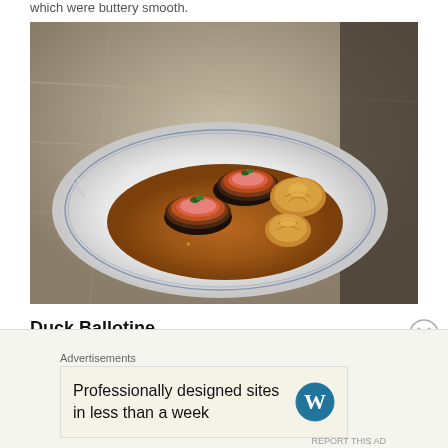which were buttery smooth.
[Figure (photo): A white plate with blue rim containing duck ballotine medallions with dark coating and garnish of parsley, alongside piped mashed potato rosettes, all in a brown sauce, served on a marble table.]
Duck Ballotine
Advertisements
Professionally designed sites in less than a week